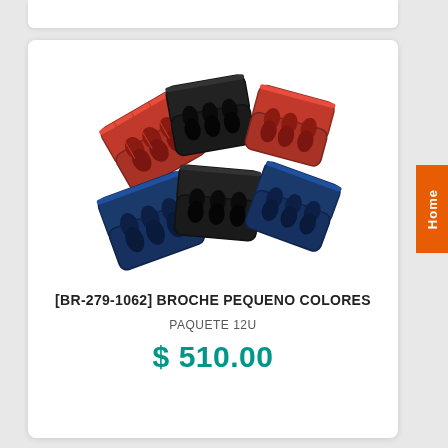[Figure (photo): Hair clips/brooches in three colors: red, black, and navy blue. Six clips arranged overlapping each other showing both top and bottom views.]
[BR-279-1062] BROCHE PEQUENO COLORES
PAQUETE 12U
$ 510.00